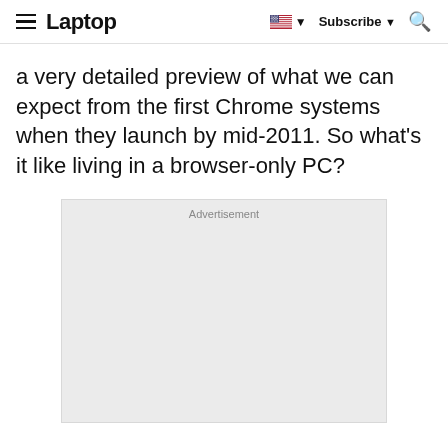Laptop  Subscribe
a very detailed preview of what we can expect from the first Chrome systems when they launch by mid-2011. So what’s it like living in a browser-only PC?
[Figure (other): Advertisement placeholder box with gray background and 'Advertisement' label at the top]